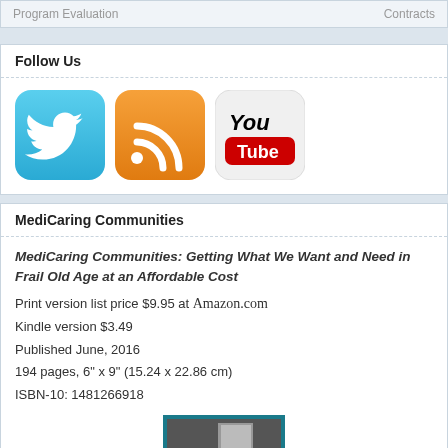Program Evaluation   Contracts
Follow Us
[Figure (illustration): Three social media icons: Twitter (blue bird), RSS feed (orange), and YouTube (white with red logo)]
MediCaring Communities
MediCaring Communities: Getting What We Want and Need in Frail Old Age at an Affordable Cost
Print version list price $9.95 at Amazon.com
Kindle version $3.49
Published June, 2016
194 pages, 6" x 9" (15.24 x 22.86 cm)
ISBN-10: 1481266918
[Figure (photo): Book cover of MediCaring Communities showing a black and white photo of an elderly person with a teal/blue border and the title MediCaring at the bottom]